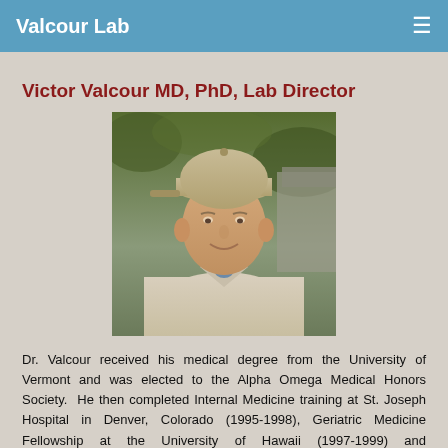Valcour Lab
Victor Valcour MD, PhD, Lab Director
[Figure (photo): Portrait photo of Victor Valcour wearing a light khaki shirt and a beige cap, outdoors with green foliage in the background]
Dr. Valcour received his medical degree from the University of Vermont and was elected to the Alpha Omega Medical Honors Society. He then completed Internal Medicine training at St. Joseph Hospital in Denver, Colorado (1995-1998), Geriatric Medicine Fellowship at the University of Hawaii (1997-1999) and Neurobehavioral fellowship at UCSF (2006-2008). Upon completing his fellowship at UCSF, he remained on faculty and is currently a